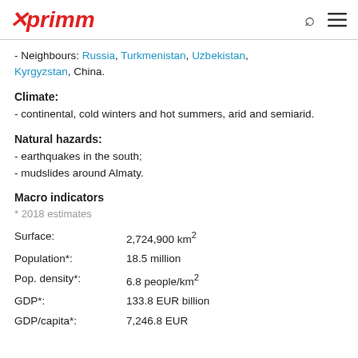xprimm
- Neighbours: Russia, Turkmenistan, Uzbekistan, Kyrgyzstan, China.
Climate:
- continental, cold winters and hot summers, arid and semiarid.
Natural hazards:
- earthquakes in the south;
- mudslides around Almaty.
Macro indicators
* 2018 estimates
|  |  |
| --- | --- |
| Surface: | 2,724,900 km² |
| Population*: | 18.5 million |
| Pop. density*: | 6.8 people/km² |
| GDP*: | 133.8 EUR billion |
| GDP/capita*: | 7,246.8 EUR |